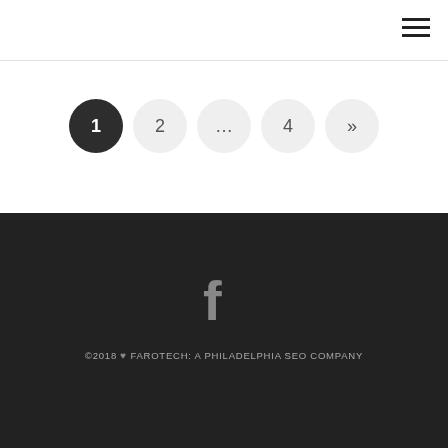Navigation menu icon (hamburger)
Pagination: 1 (active), 2, ..., 4, »
©2018 ♥ FAROTECH: A PHILADELPHIA SEO COMPANY